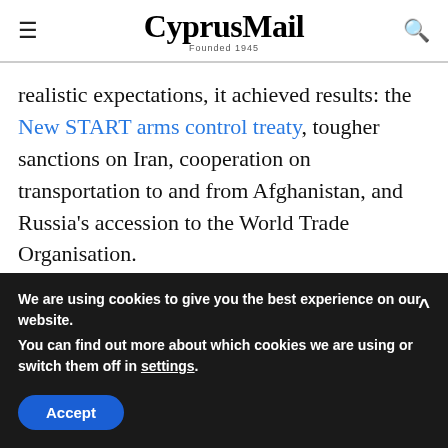CyprusMail — Founded 1945
realistic expectations, it achieved results: the New START arms control treaty, tougher sanctions on Iran, cooperation on transportation to and from Afghanistan, and Russia's accession to the World Trade Organisation.

But this reset was largely facilitated by the
We are using cookies to give you the best experience on our website.
You can find out more about which cookies we are using or switch them off in settings.